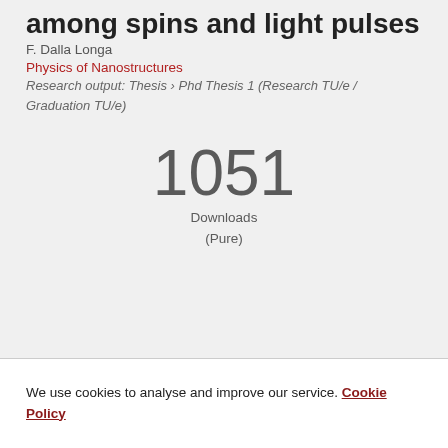among spins and light pulses
F. Dalla Longa
Physics of Nanostructures
Research output: Thesis › Phd Thesis 1 (Research TU/e / Graduation TU/e)
1051 Downloads (Pure)
We use cookies to analyse and improve our service. Cookie Policy